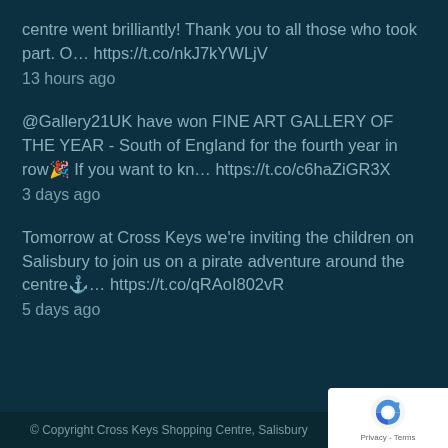centre went brilliantly! Thank you to all those who took part. O… https://t.co/nkJ7kYWLjV
13 hours ago
@Gallery21UK have won FINE ART GALLERY OF THE YEAR - South of England for the fourth year in row🎉 If you want to kn… https://t.co/c6haZiGR3X
3 days ago
Tomorrow at Cross Keys we're inviting the children on Salisbury to join us on a pirate adventure around the centre⚓… https://t.co/qRAoI802vR
5 days ago
© Copyright Cross Keys Shopping Centre, Salisbury